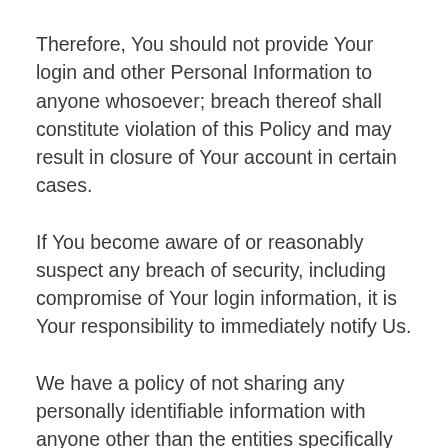Therefore, You should not provide Your login and other Personal Information to anyone whosoever; breach thereof shall constitute violation of this Policy and may result in closure of Your account in certain cases.
If You become aware of or reasonably suspect any breach of security, including compromise of Your login information, it is Your responsibility to immediately notify Us.
We have a policy of not sharing any personally identifiable information with anyone other than the entities specifically authorized by Us, which may include Our advertisers and sponsors. However,